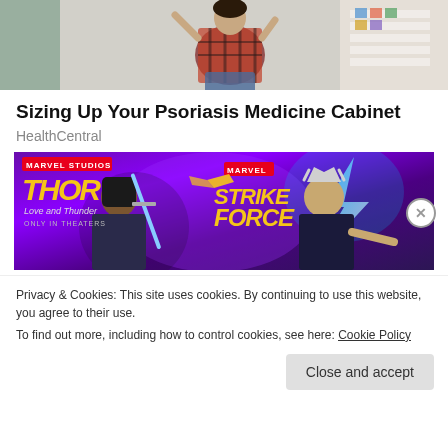[Figure (photo): Person in plaid shirt sitting, pharmacy/store shelves in background]
Sizing Up Your Psoriasis Medicine Cabinet
HealthCentral
[Figure (photo): Advertisement for Marvel Strike Force game, Thor Love and Thunder movie tie-in, showing two female superhero characters on purple background]
Privacy & Cookies: This site uses cookies. By continuing to use this website, you agree to their use.
To find out more, including how to control cookies, see here: Cookie Policy
Close and accept